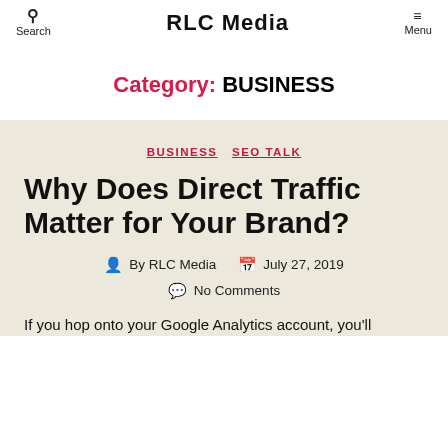Search | RLC Media | Menu
Category: BUSINESS
BUSINESS  SEO TALK
Why Does Direct Traffic Matter for Your Brand?
By RLC Media  July 27, 2019
No Comments
If you hop onto your Google Analytics account, you'll